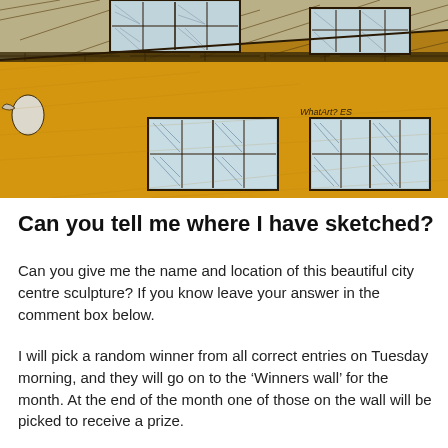[Figure (illustration): A watercolor and ink sketch of a city building facade painted in ochre/golden yellow. The building has multiple windows with cross-hatched panes shown in pen and ink. There is a roofline with dark tiles at the top, a bird (possibly a seagull) visible on the left side, and small text reading 'WhatArt? ES' in the lower right area of the sketch.]
Can you tell me where I have sketched?
Can you give me the name and location of this beautiful city centre sculpture? If you know leave your answer in the comment box below.
I will pick a random winner from all correct entries on Tuesday morning, and they will go on to the ‘Winners wall’ for the month. At the end of the month one of those on the wall will be picked to receive a prize.